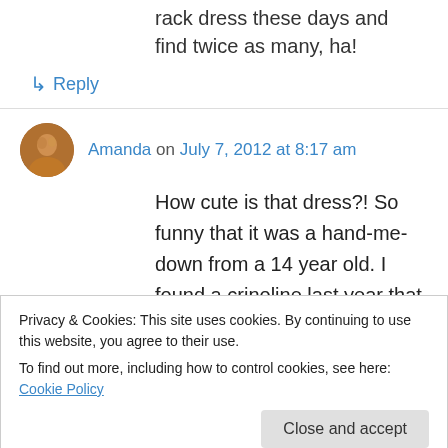rack dress these days and find twice as many, ha!
↳ Reply
Amanda on July 7, 2012 at 8:17 am
How cute is that dress?! So funny that it was a hand-me-down from a 14 year old. I found a crinoline last year that, after doing some research, found out it was a kid's size and it fit me. Um, woohoo!
Privacy & Cookies: This site uses cookies. By continuing to use this website, you agree to their use.
To find out more, including how to control cookies, see here: Cookie Policy
Close and accept
a lot to get a haircut in New York, but I really